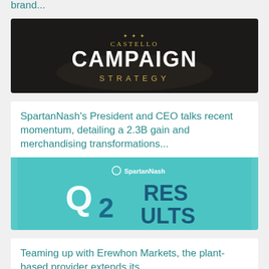brand...
[Figure (photo): Castello Campaign Strategy dark background image with CASTELLO logo and text CAMPAIGN STRATEGY]
SpartanNash's President and CEO talks recent momentum, detailing a 2.3B gain and merchandising transformations...
[Figure (photo): SpartanNash Q2 Results teal background image with 3D block letters Q2 RESULTS and SpartanNash logo]
Teaming up with Erewhon Markets, the plant-based provider extends its